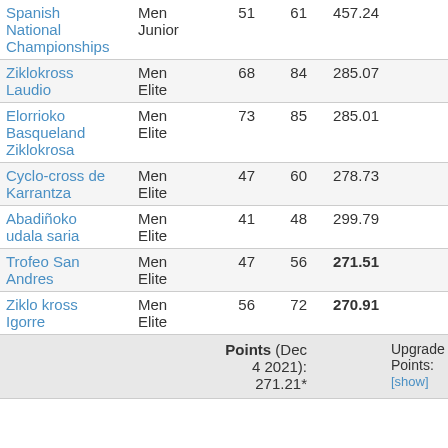| Race | Category |  |  | Points |
| --- | --- | --- | --- | --- |
| Spanish National Championships | Men Junior | 51 | 61 | 457.24 |
| Ziklokross Laudio | Men Elite | 68 | 84 | 285.07 |
| Elorrioko Basqueland Ziklokrosa | Men Elite | 73 | 85 | 285.01 |
| Cyclo-cross de Karrantza | Men Elite | 47 | 60 | 278.73 |
| Abadiñoko udala saria | Men Elite | 41 | 48 | 299.79 |
| Trofeo San Andres | Men Elite | 47 | 56 | 271.51 |
| Ziklo kross Igorre | Men Elite | 56 | 72 | 270.91 |
Points (Dec 4 2021): 271.21*    Upgrade Points: